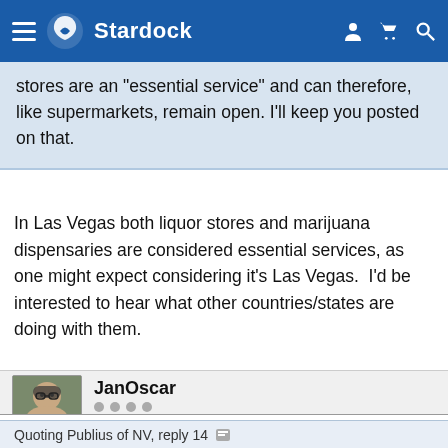Stardock
stores are an "essential service" and can therefore, like supermarkets, remain open. I'll keep you posted on that.
In Las Vegas both liquor stores and marijuana dispensaries are considered essential services, as one might expect considering it's Las Vegas.  I'd be interested to hear what other countries/states are doing with them.
JanOscar +356
Reply #15    March 23, 2020 11:50:00 PM
Quoting Publius of NV, reply 14